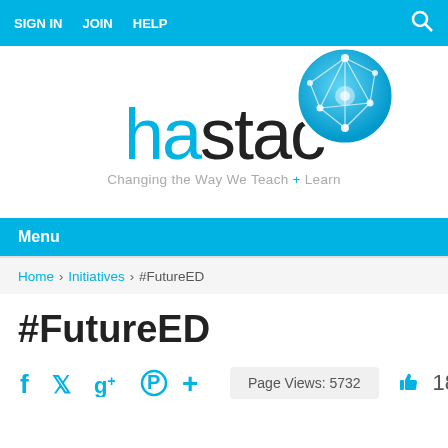SIGN IN   JOIN   HELP
[Figure (logo): HASTAC logo with network globe graphic and tagline 'Changing the Way We Teach + Learn']
Menu
Home > Initiatives > #FutureED
#FutureED
f  Twitter  g+  Pinterest  +   Page Views: 5732   thumbs up  1850